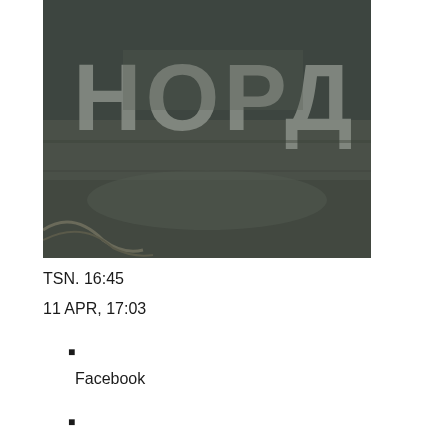[Figure (photo): Close-up photo of the side of a ship showing the Cyrillic text 'НОРД' (NORD) painted in large grey letters on a dark grey hull, with ropes/rigging visible at the bottom]
TSN. 16:45
11 APR, 17:03
■
Facebook
■